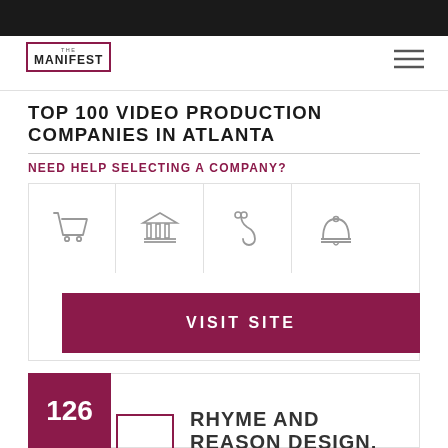The Manifest
TOP 100 VIDEO PRODUCTION COMPANIES IN ATLANTA
NEED HELP SELECTING A COMPANY?
[Figure (infographic): Four industry icons: shopping cart, government building, stethoscope, service bell]
VISIT SITE
126
RHYME AND REASON DESIGN, LLC